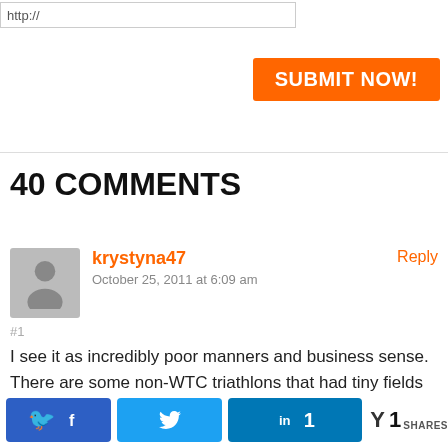http://
SUBMIT NOW!
40 COMMENTS
krystyna47
October 25, 2011 at 6:09 am
Reply
#1
I see it as incredibly poor manners and business sense. There are some non-WTC triathlons that had tiny fields in their first year (e.g. Leadman Epic 250) but the corporation is investing their time and money into the growth of the race because they are confident it is a fantastic race that will see future growth in
1 SHARES